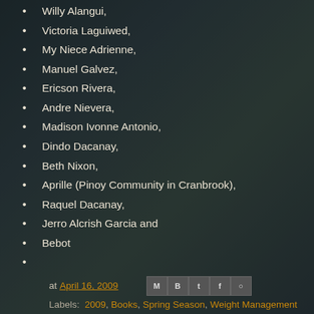Willy Alangui,
Victoria Laguiwed,
My Niece Adrienne,
Manuel Galvez,
Ericson Rivera,
Andre Nievera,
Madison Ivonne Antonio,
Dindo Dacanay,
Beth Nixon,
Aprille (Pinoy Community in Cranbrook),
Raquel Dacanay,
Jerro Alcrish Garcia and
Bebot
at April 16, 2009
Labels: 2009, Books, Spring Season, Weight Management
4 comments:
artemis  5:27 PM, April 17, 2009